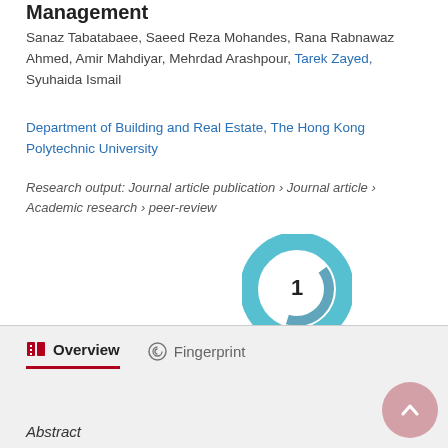Management
Sanaz Tabatabaee, Saeed Reza Mohandes, Rana Rabnawaz Ahmed, Amir Mahdiyar, Mehrdad Arashpour, Tarek Zayed, Syuhaida Ismail
Department of Building and Real Estate, The Hong Kong Polytechnic University
Research output: Journal article publication › Journal article › Academic research › peer-review
[Figure (other): Citation badge showing the number 1 in a teal/blue swirling ring logo]
Overview   Fingerprint
Abstract